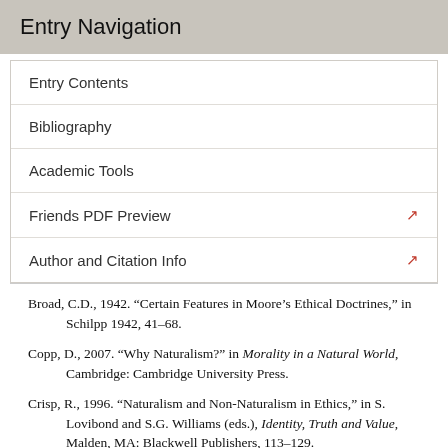Entry Navigation
Entry Contents
Bibliography
Academic Tools
Friends PDF Preview
Author and Citation Info
Broad, C.D., 1942. “Certain Features in Moore’s Ethical Doctrines,” in Schilpp 1942, 41–68.
Copp, D., 2007. “Why Naturalism?” in Morality in a Natural World, Cambridge: Cambridge University Press.
Crisp, R., 1996. “Naturalism and Non-Naturalism in Ethics,” in S. Lovibond and S.G. Williams (eds.), Identity, Truth and Value, Malden, MA: Blackwell Publishers, 113–129.
Dancy, J., 1981. “On Moral Properties,” Mind, 90: 367–385.